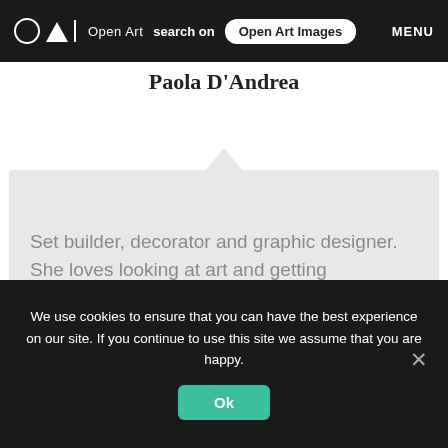Open Art | search on | Open Art Images | MENU
Paola D'Andrea
Set builder, decorator and graphic designer. She loves looking at art and getting emotional.
cheryfut@gmail.com
We use cookies to ensure that you can have the best experience on our site. If you continue to use this site we assume that you are happy.